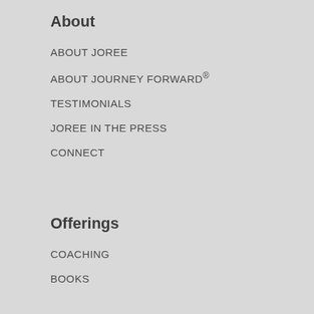About
ABOUT JOREE
ABOUT JOURNEY FORWARD®
TESTIMONIALS
JOREE IN THE PRESS
CONNECT
Offerings
COACHING
BOOKS